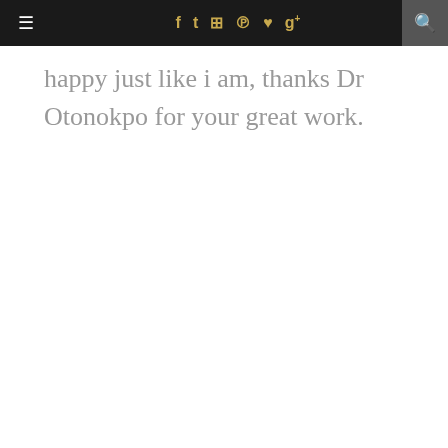☰ f t ☷ ℗ ♥ g+ 🔍
happy just like i am, thanks Dr Otonokpo for your great work.